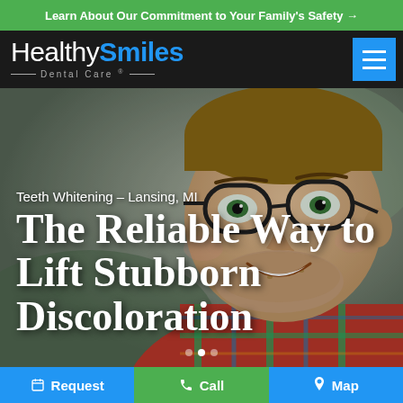Learn About Our Commitment to Your Family's Safety →
[Figure (logo): Healthy Smiles Dental Care logo with white 'Healthy' and blue 'Smiles' text on dark background, with hamburger menu icon]
[Figure (photo): Smiling man with glasses and plaid shirt, used as hero background image for teeth whitening service page]
Teeth Whitening – Lansing, MI
The Reliable Way to Lift Stubborn Discoloration
Request | Call | Map